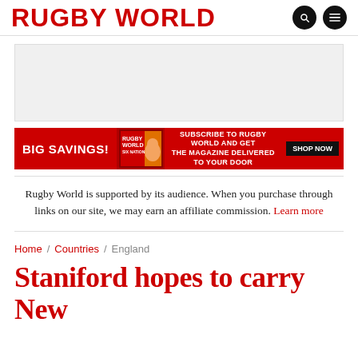RUGBY WORLD
[Figure (other): Grey advertisement placeholder box]
[Figure (other): Red banner advertisement: BIG SAVINGS! Subscribe to Rugby World and get the magazine delivered to your door. SHOP NOW]
Rugby World is supported by its audience. When you purchase through links on our site, we may earn an affiliate commission. Learn more
Home / Countries / England
Staniford hopes to carry New